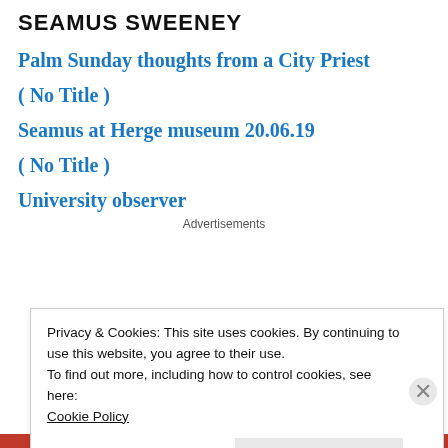SEAMUS SWEENEY
Palm Sunday thoughts from a City Priest
( No Title )
Seamus at Herge museum 20.06.19
( No Title )
University observer
Advertisements
Privacy & Cookies: This site uses cookies. By continuing to use this website, you agree to their use.
To find out more, including how to control cookies, see here:
Cookie Policy
Close and accept